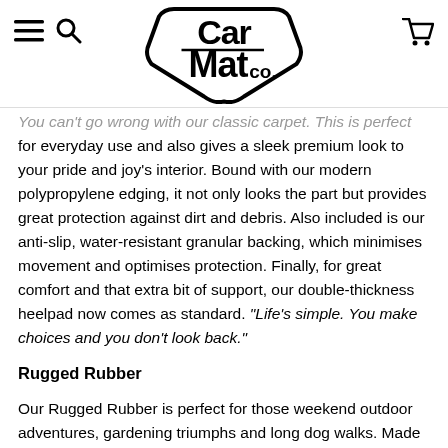Car Mat Co. — navigation header with logo
You can't go wrong with our classic carpet. This is perfect for everyday use and also gives a sleek premium look to your pride and joy's interior. Bound with our modern polypropylene edging, it not only looks the part but provides great protection against dirt and debris. Also included is our anti-slip, water-resistant granular backing, which minimises movement and optimises protection. Finally, for great comfort and that extra bit of support, our double-thickness heelpad now comes as standard. "Life's simple. You make choices and you don't look back."
Rugged Rubber
Our Rugged Rubber is perfect for those weekend outdoor adventures, gardening triumphs and long dog walks. Made from 100%...